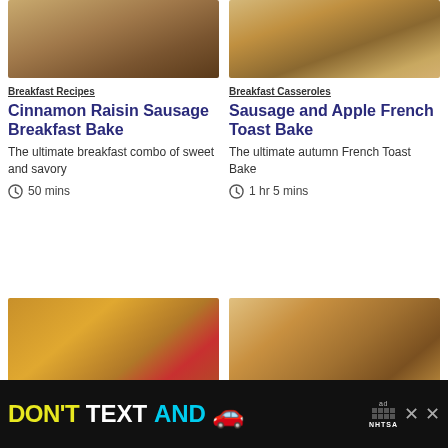[Figure (photo): Cinnamon Raisin Sausage Breakfast Bake dish in a pan, golden brown topping]
[Figure (photo): Sausage and Apple French Toast Bake on a plate, golden slices]
Breakfast Recipes
Cinnamon Raisin Sausage Breakfast Bake
The ultimate breakfast combo of sweet and savory
50 mins
Breakfast Casseroles
Sausage and Apple French Toast Bake
The ultimate autumn French Toast Bake
1 hr 5 mins
[Figure (photo): Close-up of French toast with red jam/preserves and powdered sugar]
[Figure (photo): Close-up of cinnamon raisin bread pudding style bake]
[Figure (other): Advertisement banner: DON'T TEXT AND [car emoji] with NHTSA logo and ad badge]